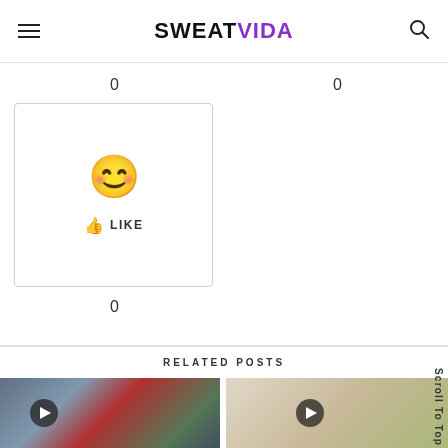SWEATVIDA
0
0
[Figure (other): Reaction widget box with smiley face emoji and thumbs up LIKE button]
0
RELATED POSTS
[Figure (photo): Related post thumbnail showing outdoor/harbor scene with red costume, play button overlay]
[Figure (photo): Related post thumbnail showing woman holding broccoli, play button overlay]